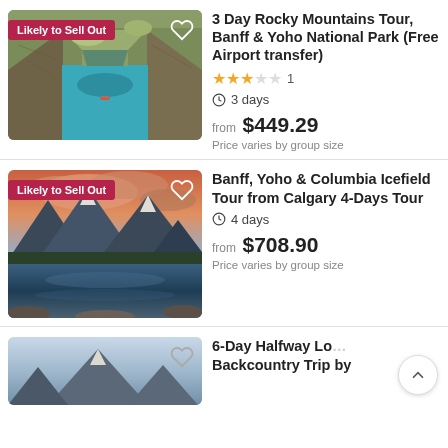[Figure (photo): Canyon river with turquoise water flowing between rocky walls, with a kayaker visible. Badge: 'Likely to Sell Out'.]
3 Day Rocky Mountains Tour, Banff & Yoho National Park (Free Airport transfer)
★★★☆☆ 1
3 days
from $449.29
Price varies by group size
[Figure (photo): Mountain lake at sunset with dramatic pink and purple clouds reflected in the water, surrounded by pine trees. Badge: 'Likely to Sell Out'.]
Banff, Yoho & Columbia Icefield Tour from Calgary 4-Days Tour
4 days
from $708.90
Price varies by group size
[Figure (photo): Partial view of a mountain scene (partially cut off at bottom of page).]
6-Day Halfway Lou... Backcountry Trip by